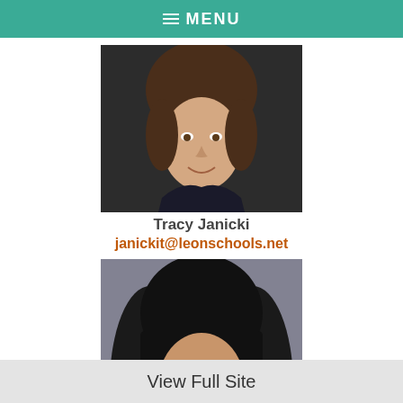MENU
[Figure (photo): Headshot of Tracy Janicki, a woman with short brown hair, wearing a dark top, professional school photo]
Tracy Janicki
janickit@leonschools.net
[Figure (photo): Headshot of Lisa Jordan, a woman with long dark hair, smiling, professional school photo]
Lisa Jordan
View Full Site